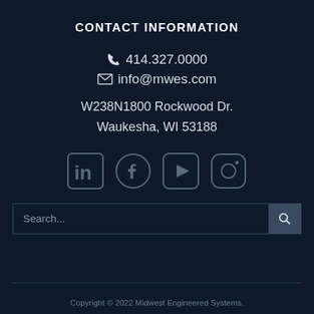CONTACT INFORMATION
414.327.0000
info@mwes.com
W238N1800 Rockwood Dr.
Waukesha, WI 53188
[Figure (infographic): Social media icons: LinkedIn, Facebook, YouTube, Instagram]
Search...
Copyright © 2022 Midwest Engineered Systems.